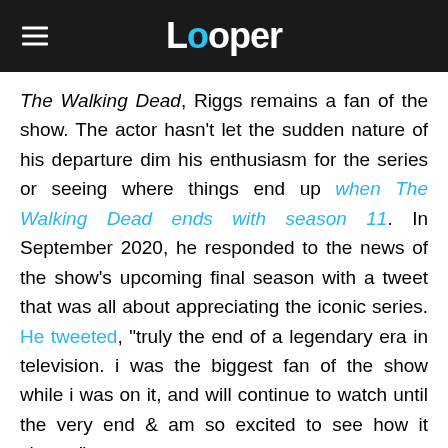Looper
The Walking Dead, Riggs remains a fan of the show. The actor hasn't let the sudden nature of his departure dim his enthusiasm for the series or seeing where things end up when The Walking Dead ends with season 11. In September 2020, he responded to the news of the show's upcoming final season with a tweet that was all about appreciating the iconic series. He tweeted, "truly the end of a legendary era in television. i was the biggest fan of the show while i was on it, and will continue to watch until the very end & am so excited to see how it closes."